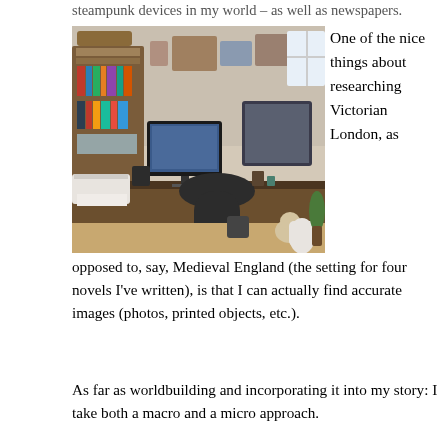steampunk devices in my world – as well as newspapers.
[Figure (photo): A home office with a wooden desk, office chair, computer monitor, printer, bookshelves filled with books, and decorations/photos pinned to the wall. A cat or small animal is visible near the desk.]
One of the nice things about researching Victorian London, as opposed to, say, Medieval England (the setting for four novels I've written), is that I can actually find accurate images (photos, printed objects, etc.).
As far as worldbuilding and incorporating it into my story: I take both a macro and a micro approach.